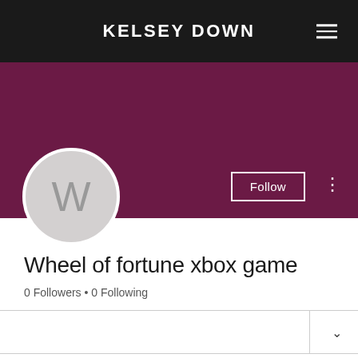KELSEY DOWN
[Figure (screenshot): Purple banner background for user profile]
[Figure (illustration): Circular avatar with letter W on grey background]
Follow
Wheel of fortune xbox game
0 Followers • 0 Following
Profile
Join date: May 6, 2022